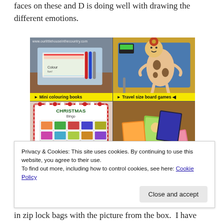faces on these and D is doing well with drawing the different emotions.
[Figure (photo): Four-panel photo collage showing travel activities for children: top-left shows mini colouring books in a tray, top-right shows a travel size board game with a cartoon figure, bottom-left shows a Christmas bingo card, bottom-right shows card games spread on a wooden surface. Website watermark: www.ourlittlehouseinthecountry.com]
Privacy & Cookies: This site uses cookies. By continuing to use this website, you agree to their use.
To find out more, including how to control cookies, see here: Cookie Policy
in zip lock bags with the picture from the box.  I have